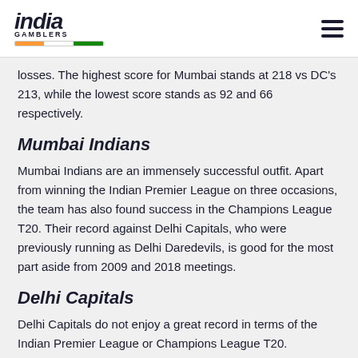india GAMBLERS
losses. The highest score for Mumbai stands at 218 vs DC's 213, while the lowest score stands as 92 and 66 respectively.
Mumbai Indians
Mumbai Indians are an immensely successful outfit. Apart from winning the Indian Premier League on three occasions, the team has also found success in the Champions League T20. Their record against Delhi Capitals, who were previously running as Delhi Daredevils, is good for the most part aside from 2009 and 2018 meetings.
Delhi Capitals
Delhi Capitals do not enjoy a great record in terms of the Indian Premier League or Champions League T20. However, they have a surprisingly decent record against